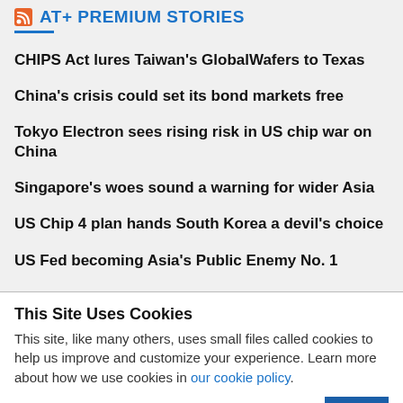AT+ PREMIUM STORIES
CHIPS Act lures Taiwan's GlobalWafers to Texas
China's crisis could set its bond markets free
Tokyo Electron sees rising risk in US chip war on China
Singapore's woes sound a warning for wider Asia
US Chip 4 plan hands South Korea a devil's choice
US Fed becoming Asia's Public Enemy No. 1
This Site Uses Cookies
This site, like many others, uses small files called cookies to help us improve and customize your experience. Learn more about how we use cookies in our cookie policy.
Learn more about cookies   OK